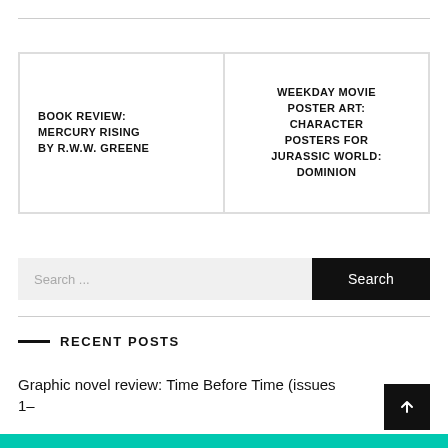BOOK REVIEW: MERCURY RISING BY R.W.W. GREENE
WEEKDAY MOVIE POSTER ART: CHARACTER POSTERS FOR JURASSIC WORLD: DOMINION
Search ...
RECENT POSTS
Graphic novel review: Time Before Time (issues 1-